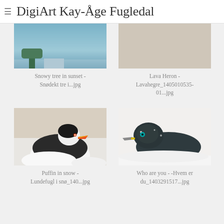≡ DigiArt Kay-Åge Fugledal
[Figure (photo): Partial view of a snowy tree in sunset photo thumbnail - blue/teal sky background]
Snowy tree in sunset - Snødekt tre i...jpg
[Figure (photo): Partial view of Lava Heron photo thumbnail - beige/tan background]
Lava Heron - Lavahegre_1405010535-01...jpg
[Figure (photo): Puffin in snow - a puffin bird with colorful beak against white snowy background]
Puffin in snow - Lundefugl i snø_140...jpg
[Figure (photo): Who are you - a dark-feathered bird with yellow beak marking against snowy white background]
Who are you - -Hvem er du_1403291517...jpg